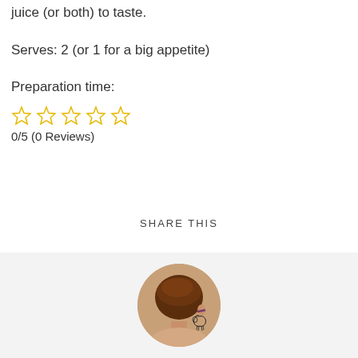juice (or both) to taste.
Serves: 2 (or 1 for a big appetite)
Preparation time:
[Figure (other): Five empty star rating icons in yellow/gold outline, representing a rating widget]
0/5 (0 Reviews)
SHARE THIS
[Figure (photo): Circular profile photo of a person with short brown hair, glasses, viewed from the back/side, with a decorative horse hair clip, set against a light gray background]